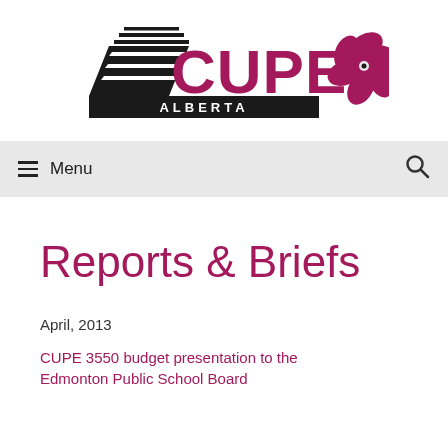[Figure (logo): CUPE Alberta logo with stylized black arrow/lines graphic on left, 'CUPE' text in magenta/dark pink, 'ALBERTA' text in black below, and a magenta flower on the right]
≡ Menu  🔍
Reports & Briefs
April, 2013
CUPE 3550 budget presentation to the Edmonton Public School Board